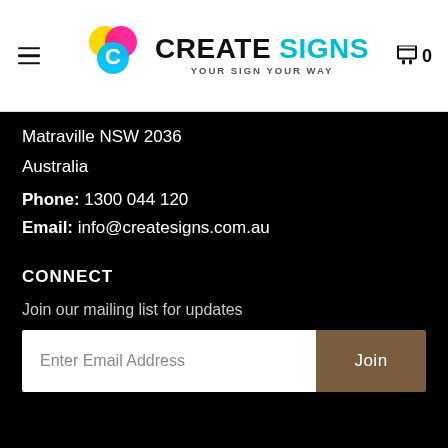[Figure (logo): Create Signs logo with colorful C icon and tagline YOUR SIGN YOUR WAY]
Matraville NSW 2036
Australia
Phone: 1300 044 120
Email: info@createsigns.com.au
CONNECT
Join our mailing list for updates